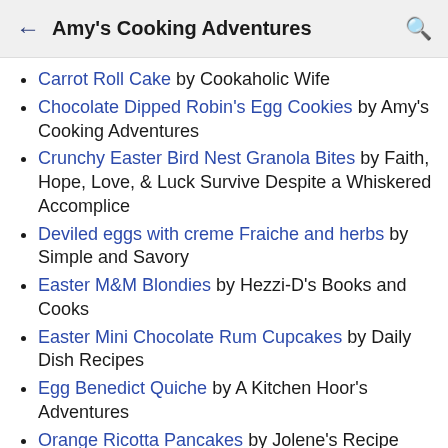← Amy's Cooking Adventures 🔍
Carrot Roll Cake by Cookaholic Wife
Chocolate Dipped Robin's Egg Cookies by Amy's Cooking Adventures
Crunchy Easter Bird Nest Granola Bites by Faith, Hope, Love, & Luck Survive Despite a Whiskered Accomplice
Deviled eggs with creme Fraiche and herbs by Simple and Savory
Easter M&M Blondies by Hezzi-D's Books and Cooks
Easter Mini Chocolate Rum Cupcakes by Daily Dish Recipes
Egg Benedict Quiche by A Kitchen Hoor's Adventures
Orange Ricotta Pancakes by Jolene's Recipe Journal
Puff Pastry Eggs with Ham and Cheese by All that's Jas
Sausage and Spinach Pie by Karen's Kitchen Stories